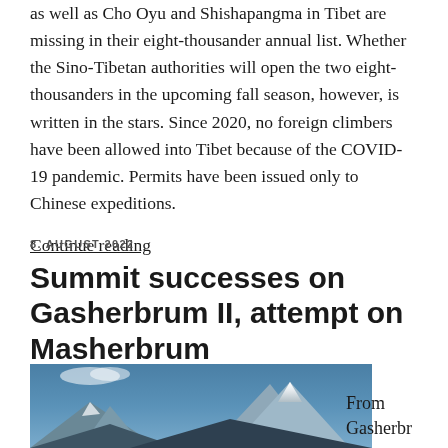as well as Cho Oyu and Shishapangma in Tibet are missing in their eight-thousander annual list. Whether the Sino-Tibetan authorities will open the two eight-thousanders in the upcoming fall season, however, is written in the stars. Since 2020, no foreign climbers have been allowed into Tibet because of the COVID-19 pandemic. Permits have been issued only to Chinese expeditions.
Continue reading
8. AUGUST 2022
Summit successes on Gasherbrum II, attempt on Masherbrum
[Figure (photo): Mountain landscape photograph showing snow-capped peaks against a blue sky with clouds, likely Gasherbrum or Masherbrum mountain range]
From Gasherbr